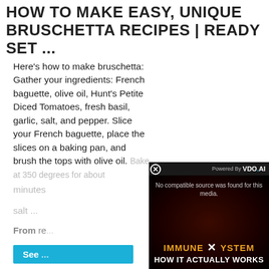HOW TO MAKE EASY, UNIQUE BRUSCHETTA RECIPES | READY SET ...
Here’s how to make bruschetta: Gather your ingredients: French baguette, olive oil, Hunt’s Petite Diced Tomatoes, fresh basil, garlic, salt, and pepper. Slice your French baguette, place the slices on a baking pan, and brush the tops with olive oil. Bake at 350 degrees for about minutes ... salt ...
From re...
See ...
[Figure (screenshot): Video player overlay showing 'No compatible source was found for this media.' with 'IMMUNE SYSTEM HOW IT ACTUALLY WORKS' text on dark background. Powered by VDO.AI branding visible.]
BALSA... RECIPE...
2015-03-...
Lightly brush garlic butter over baguette slices...